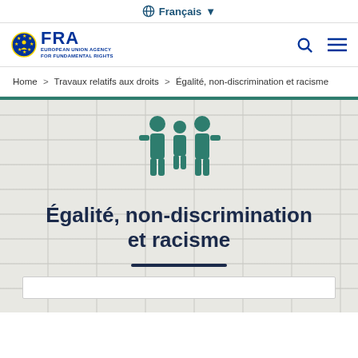Français
[Figure (logo): FRA – European Union Agency for Fundamental Rights logo with EU stars emblem]
Home > Travaux relatifs aux droits > Égalité, non-discrimination et racisme
[Figure (illustration): Three teal human figure icons representing equality and non-discrimination]
Égalité, non-discrimination et racisme